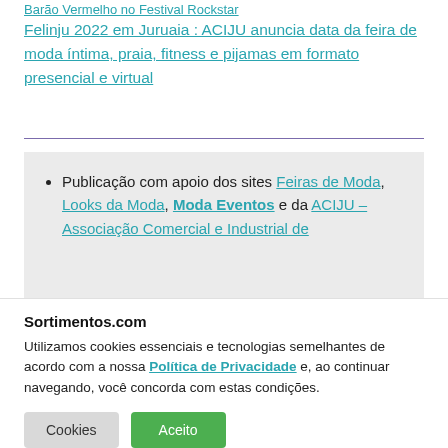Barão Vermelho no Festival Rockstar
Felinju 2022 em Juruaia : ACIJU anuncia data da feira de moda íntima, praia, fitness e pijamas em formato presencial e virtual
Publicação com apoio dos sites Feiras de Moda, Looks da Moda, Moda Eventos e da ACIJU – Associação Comercial e Industrial de
Sortimentos.com
Utilizamos cookies essenciais e tecnologias semelhantes de acordo com a nossa Política de Privacidade e, ao continuar navegando, você concorda com estas condições.
Cookies  Aceito